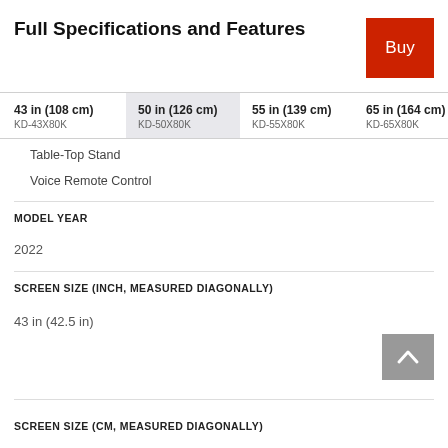Full Specifications and Features
| 43 in (108 cm)
KD-43X80K | 50 in (126 cm)
KD-50X80K | 55 in (139 cm)
KD-55X80K | 65 in (164 cm)
KD-65X80K | 75 in (1…
KD-75X8… |
| --- | --- | --- | --- | --- |
Table-Top Stand
Voice Remote Control
MODEL YEAR
2022
SCREEN SIZE (INCH, MEASURED DIAGONALLY)
43 in (42.5 in)
SCREEN SIZE (CM, MEASURED DIAGONALLY)